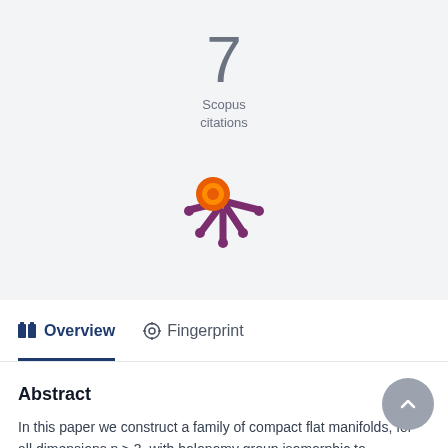[Figure (infographic): Scopus citations badge showing the number 7 in large gray text above the text 'Scopus citations', with the Altmetric/PlumX snowflake-like logo (orange circle with purple asterisk arms) below]
Overview   Fingerprint
Abstract
In this paper we construct a family of compact flat manifolds, for all dimensions n ≥ 3, with holonomy group isomorphic to